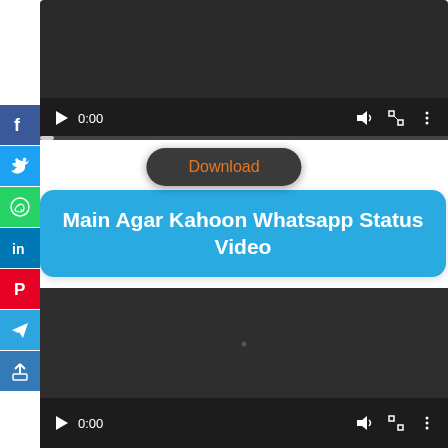[Figure (screenshot): Video player at top showing dark background with play button, 0:00 time display, volume, fullscreen, and more icons with progress bar]
[Figure (screenshot): Social media share sidebar with Facebook, Twitter, WhatsApp, LinkedIn, Pinterest, Telegram, and Share buttons]
Download
Main Agar Kahoon Whatsapp Status Video
[Figure (screenshot): Second video player at bottom showing dark background with play button, 0:00 time display, volume, fullscreen, and more icons]